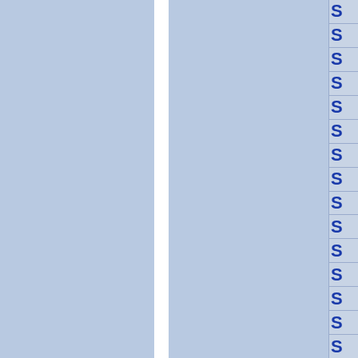[Figure (other): Page layout showing two blue-gray rectangular columns separated by a white vertical divider, with a right-side panel containing a vertical list of 'S' letters in bold blue, each separated by horizontal lines.]